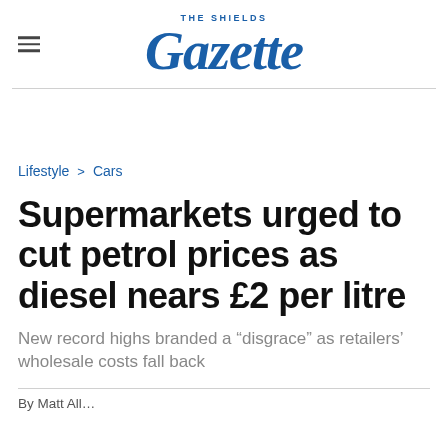THE SHIELDS Gazette
Lifestyle > Cars
Supermarkets urged to cut petrol prices as diesel nears £2 per litre
New record highs branded a “disgrace” as retailers’ wholesale costs fall back
By Matt All...